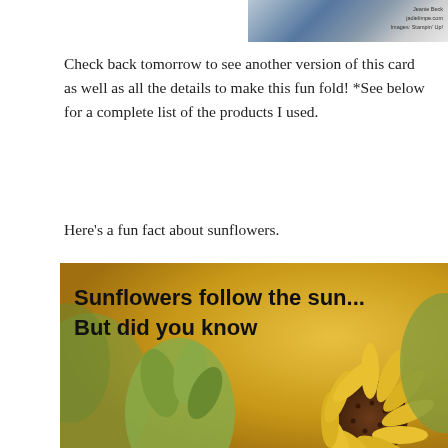[Figure (photo): Partial view of a card/product strip at top right with blue color swatch and small text reading 'Jeanie Beck, jadeielimpe.com, Images: Stampin Up!']
Check back tomorrow to see another version of this card as well as all the details to make this fun fold! *See below for a complete list of the products I used.
Here's a fun fact about sunflowers.
[Figure (photo): Photo of sunflowers with yellow/golden background showing close-up of sunflower blooms with bold text overlay reading 'Sunflowers follow the sun... But did you know']